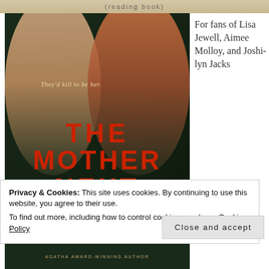[Figure (photo): Top banner with partial text visible, tan/beige background]
[Figure (photo): Book cover of 'The Mother Next' showing two women back-to-back, one blonde and one redhead, against a dark green background. Tagline reads 'They'd kill to be her'. Red serif title text. Bottom reads 'AGATHA AWARD-WINNING AUTHOR'.]
For fans of Lisa Jewell, Aimee Molloy, and Joshilyn Jacks
Privacy & Cookies: This site uses cookies. By continuing to use this website, you agree to their use.
To find out more, including how to control cookies, see here: Cookie Policy
Close and accept
novel
AGATHA AWARD-WINNING AUTHOR